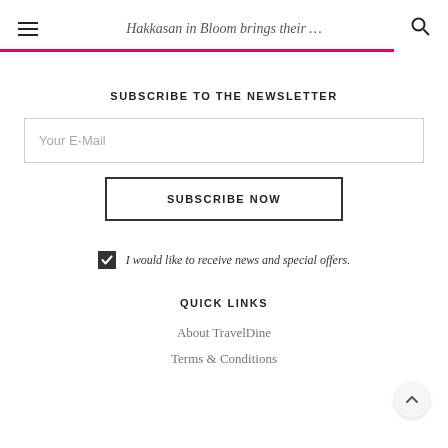Hakkasan in Bloom brings their …
SUBSCRIBE TO THE NEWSLETTER
Your E-Mail
SUBSCRIBE NOW
I would like to receive news and special offers.
QUICK LINKS
About TravelDine
Terms & Conditions